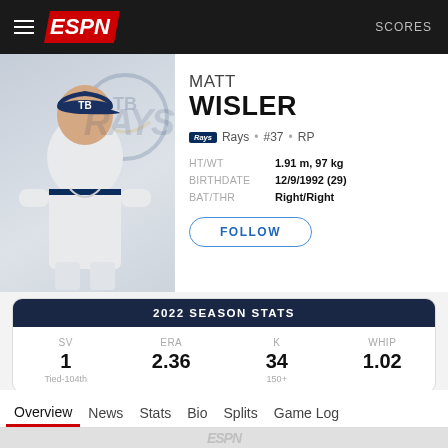ESPN — SCORES
MATT WISLER
Rays • #37 • RP
HT/WT: 1.91 m, 97 kg | BIRTHDATE: 12/9/1992 (29) | BAT/THR: Right/Right
| SV | ERA | K | WHIP |
| --- | --- | --- | --- |
| 1 | 2.36 | 34 | 1.02 |
| Tied-104th |  | 150+ |  |
Overview
News
Stats
Bio
Splits
Game Log